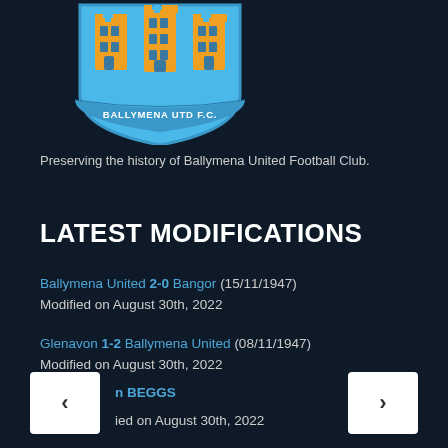[Figure (logo): Ballymena United FC shield logo: blue shield with three yellow towers and a blue banner reading BALLYMENA UTD F.C.]
Preserving the history of Ballymena United Football Club.
LATEST MODIFICATIONS
Ballymena United 2-0 Bangor (15/11/1947)
Modified on August 30th, 2022
Glenavon 1-2 Ballymena United (08/11/1947)
Modified on August 30th, 2022
n BEGGS
ied on August 30th, 2022